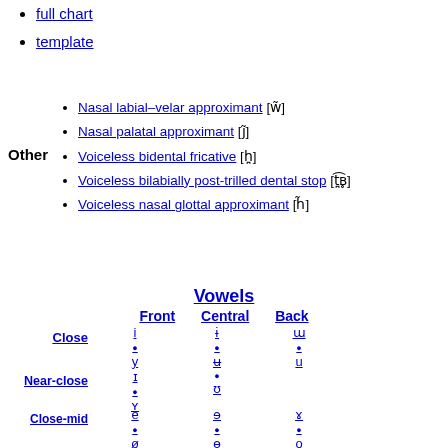full chart
template
Other
Nasal labial–velar approximant [w̃]
Nasal palatal approximant [j̃]
Voiceless bidental fricative [h̪]
Voiceless bilabially post-trilled dental stop [t̪͡ʙ̥]
Voiceless nasal glottal approximant [h̃]
Vowels
Front Central Back
Close  i•  ɯ•
         y        ɨ̞        u
Near-close  ɪ•  •
              ʏ       ʊ
Close-mid  e•  ɘ•  ɣ•
               ø      ɵ      o
Mid  e̞•  ə  ɣ˞•
          ø̞            o̞